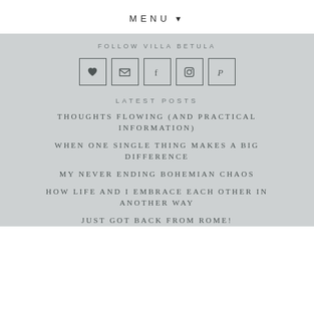MENU ▾
FOLLOW VILLA BETULA
[Figure (infographic): Row of 5 social media icon buttons in square borders: heart (Bloglovin), envelope (email), f (Facebook), Instagram camera, Pinterest P]
LATEST POSTS
THOUGHTS FLOWING (AND PRACTICAL INFORMATION)
WHEN ONE SINGLE THING MAKES A BIG DIFFERENCE
MY NEVER ENDING BOHEMIAN CHAOS
HOW LIFE AND I EMBRACE EACH OTHER IN ANOTHER WAY
JUST GOT BACK FROM ROME!